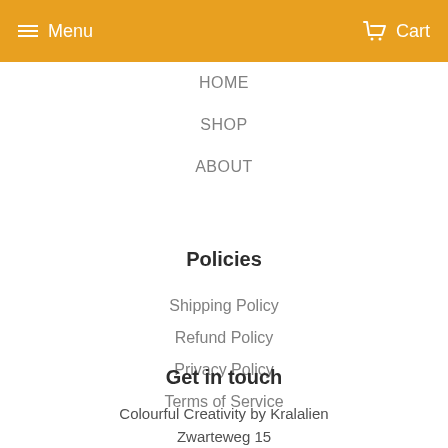Menu  Cart
HOME
SHOP
ABOUT
Policies
Shipping Policy
Refund Policy
Privacy Policy
Terms of Service
Get in touch
Colourful Creativity by Kralalien
Zwarteweg 15
7532XP Enschede
the Netherlands
info@kralalien.nl